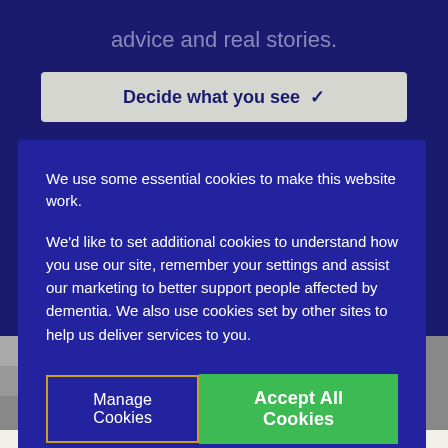advice and real stories.
Decide what you see ✓
We use some essential cookies to make this website work.
We'd like to set additional cookies to understand how you use our site, remember your settings and assist our marketing to better support people affected by dementia. We also use cookies set by other sites to help us deliver services to you.
Manage Cookies
Accept All Cookies
[Figure (photo): Person sitting outdoors, partial view of torso and arms, background with greenery]